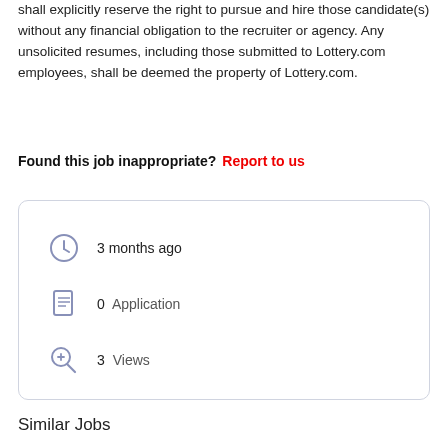shall explicitly reserve the right to pursue and hire those candidate(s) without any financial obligation to the recruiter or agency. Any unsolicited resumes, including those submitted to Lottery.com employees, shall be deemed the property of Lottery.com.
Found this job inappropriate?  Report to us
[Figure (infographic): Info card showing: clock icon with '3 months ago', document icon with '0 Application', magnifier-plus icon with '3 Views']
Similar Jobs